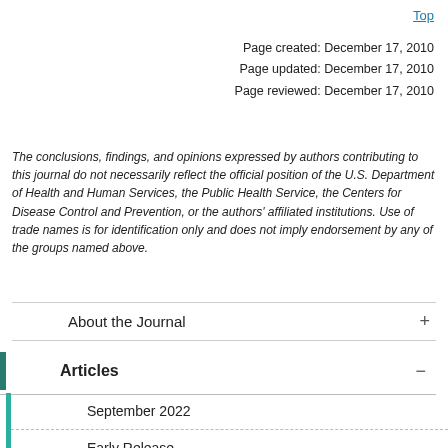Top
Page created: December 17, 2010
Page updated: December 17, 2010
Page reviewed: December 17, 2010
The conclusions, findings, and opinions expressed by authors contributing to this journal do not necessarily reflect the official position of the U.S. Department of Health and Human Services, the Public Health Service, the Centers for Disease Control and Prevention, or the authors' affiliated institutions. Use of trade names is for identification only and does not imply endorsement by any of the groups named above.
About the Journal
Articles
September 2022
Early Release